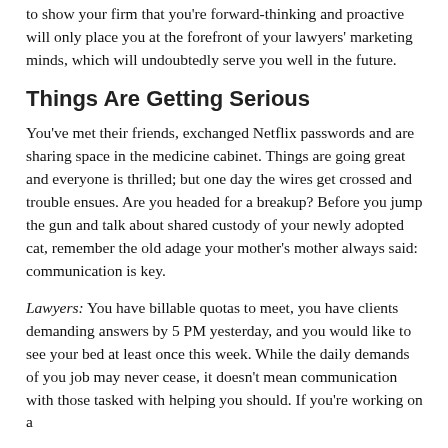to show your firm that you're forward-thinking and proactive will only place you at the forefront of your lawyers' marketing minds, which will undoubtedly serve you well in the future.
Things Are Getting Serious
You've met their friends, exchanged Netflix passwords and are sharing space in the medicine cabinet. Things are going great and everyone is thrilled; but one day the wires get crossed and trouble ensues. Are you headed for a breakup? Before you jump the gun and talk about shared custody of your newly adopted cat, remember the old adage your mother's mother always said: communication is key.
Lawyers: You have billable quotas to meet, you have clients demanding answers by 5 PM yesterday, and you would like to see your bed at least once this week. While the daily demands of you job may never cease, it doesn't mean communication with those tasked with helping you should. If you're working on a